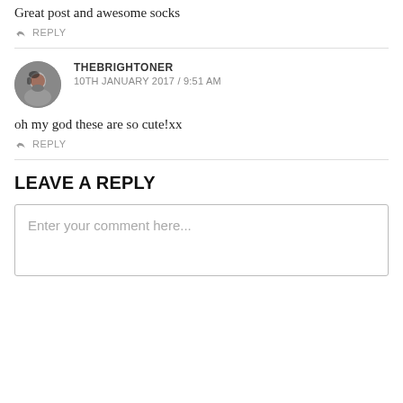Great post and awesome socks
↩ REPLY
THEBRIGHTONER
10TH JANUARY 2017 / 9:51 AM
oh my god these are so cute!xx
↩ REPLY
LEAVE A REPLY
Enter your comment here...